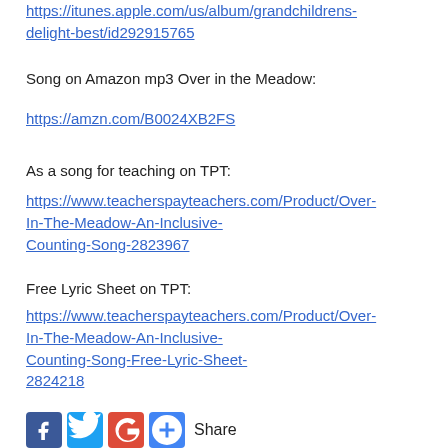https://itunes.apple.com/us/album/grandchildrens-delight-best/id292915765
Song on Amazon mp3 Over in the Meadow:
https://amzn.com/B0024XB2FS
As a song for teaching on TPT:
https://www.teacherspayteachers.com/Product/Over-In-The-Meadow-An-Inclusive-Counting-Song-2823967
Free Lyric Sheet on TPT:
https://www.teacherspayteachers.com/Product/Over-In-The-Meadow-An-Inclusive-Counting-Song-Free-Lyric-Sheet-2824218
[Figure (infographic): Social share icons: Facebook, Twitter, Google+, and an add/share button, followed by the text 'Share']